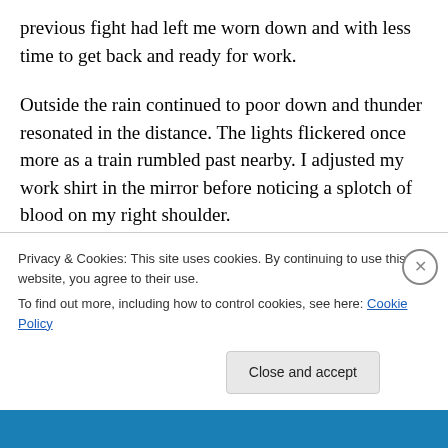previous fight had left me worn down and with less time to get back and ready for work.
Outside the rain continued to poor down and thunder resonated in the distance. The lights flickered once more as a train rumbled past nearby. I adjusted my work shirt in the mirror before noticing a splotch of blood on my right shoulder.
“Shit…” Cursing my luck, I quickly removed my shirt and rummaged around the bathroom for a bandage. I was
Privacy & Cookies: This site uses cookies. By continuing to use this website, you agree to their use.
To find out more, including how to control cookies, see here: Cookie Policy